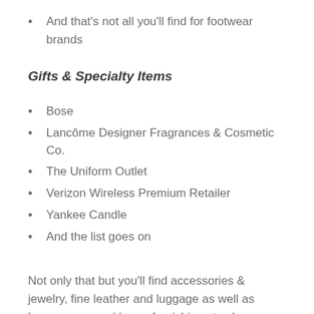And that's not all you'll find for footwear brands
Gifts & Specialty Items
Bose
Lancôme Designer Fragrances & Cosmetic Co.
The Uniform Outlet
Verizon Wireless Premium Retailer
Yankee Candle
And the list goes on
Not only that but you'll find accessories & jewelry, fine leather and luggage as well as housewares and home furnishings to choose from, all from trusted famous name brands. Grab a bite to eat or enjoy some ice cream as you take in a full day of shopping